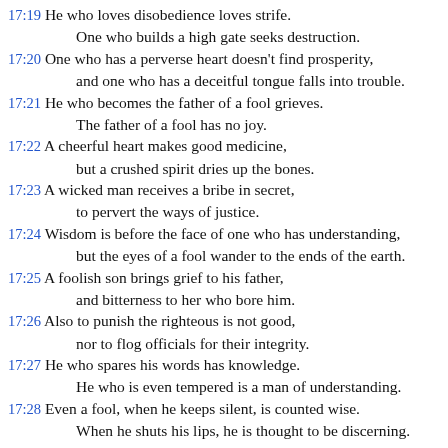17:19 He who loves disobedience loves strife. One who builds a high gate seeks destruction.
17:20 One who has a perverse heart doesn’t find prosperity, and one who has a deceitful tongue falls into trouble.
17:21 He who becomes the father of a fool grieves. The father of a fool has no joy.
17:22 A cheerful heart makes good medicine, but a crushed spirit dries up the bones.
17:23 A wicked man receives a bribe in secret, to pervert the ways of justice.
17:24 Wisdom is before the face of one who has understanding, but the eyes of a fool wander to the ends of the earth.
17:25 A foolish son brings grief to his father, and bitterness to her who bore him.
17:26 Also to punish the righteous is not good, nor to flog officials for their integrity.
17:27 He who spares his words has knowledge. He who is even tempered is a man of understanding.
17:28 Even a fool, when he keeps silent, is counted wise. When he shuts his lips, he is thought to be discerning.